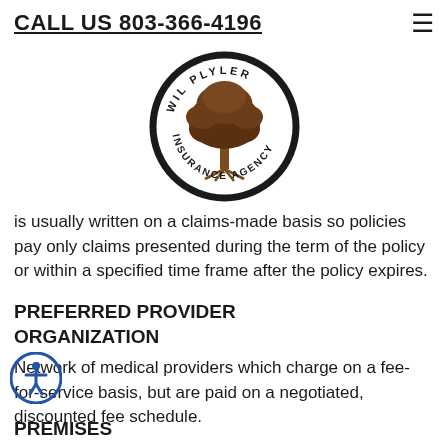CALL US 803-366-4196
[Figure (logo): Wil Plyler Insurance Agency circular logo with a tree illustration]
is usually written on a claims-made basis so policies pay only claims presented during the term of the policy or within a specified time frame after the policy expires.
PREFERRED PROVIDER ORGANIZATION
Network of medical providers which charge on a fee-for-service basis, but are paid on a negotiated, discounted fee schedule.
PREMISES